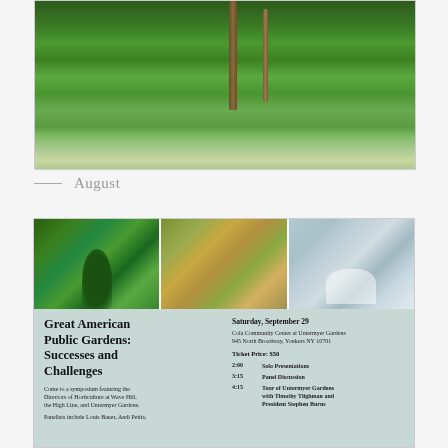[Figure (photo): Lush green garden/woodland scene with tall trees and flowering shrubs]
— August
[Figure (photo): Flyer for Great American Public Gardens symposium with three garden photos on top and event details below on a teal/sage background]
Great American Public Gardens: Successes and Challenges
Come to a symposium featuring the Directors of Horticulture at Wave Hill, the High Line, and Untermyer Gardens.
Panelists include Louis Bauer, Andi Pettis,
Saturday, September 29
Cola Community Center at Untermyer Gardens
945 North Broadway, Yonkers NY 10701
Ticket Price: $50
2:00   Solo Presentations
3:15   Panel Discussion
4:15   Tour of Untermyer Gardens with Timothy Tilghman and President Stephen Burns